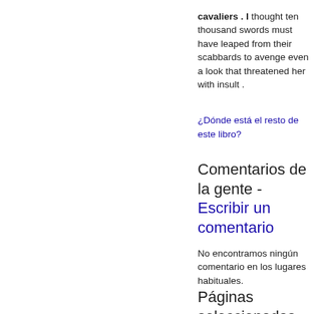cavaliers . I thought ten thousand swords must have leaped from their scabbards to avenge even a look that threatened her with insult .
¿Dónde está el resto de este libro?
Comentarios de la gente - Escribir un comentario
No encontramos ningún comentario en los lugares habituales.
Páginas seleccionadas